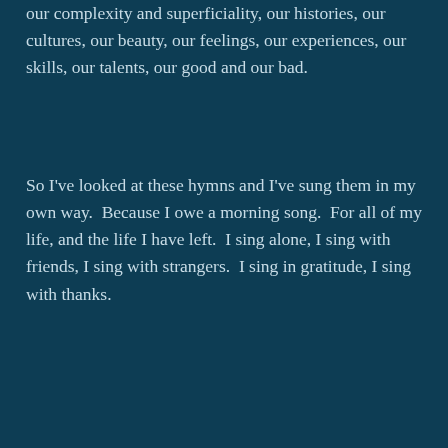our complexity and superficiality, our histories, our cultures, our beauty, our feelings, our experiences, our skills, our talents, our good and our bad.
So I've looked at these hymns and I've sung them in my own way.  Because I owe a morning song.  For all of my life, and the life I have left.  I sing alone, I sing with friends, I sing with strangers.  I sing in gratitude, I sing with thanks.